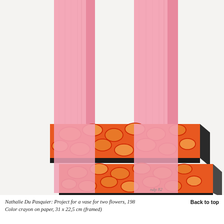[Figure (illustration): Color crayon drawing of a vase or pedestal structure for two flowers. Two vertical pink rectangular columns rise from two stacked horizontal platforms decorated with an orange and red mosaic/cobblestone pattern with black edges. The background is light grey-white. A small handwritten signature appears at lower right of the image.]
Nathalie Du Pasquier: Project for a vase for two flowers, 198  Color crayon on paper, 31 x 22,5 cm (framed)
Back to top